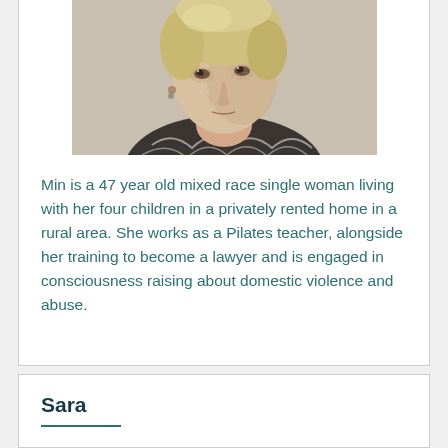[Figure (photo): Portrait photo of an older woman with short blonde hair wearing a patterned black and white top, looking to the side in a documentary/profile style photograph.]
Min is a 47 year old mixed race single woman living with her four children in a privately rented home in a rural area. She works as a Pilates teacher, alongside her training to become a lawyer and is engaged in consciousness raising about domestic violence and abuse.
Sara